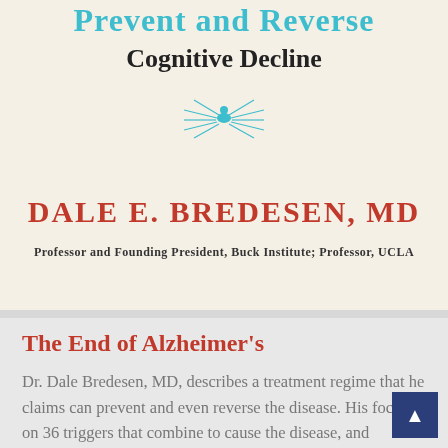[Figure (photo): Book cover showing 'Prevent and Reverse Cognitive Decline' by Dale E. Bredesen, MD. Teal and dark text title at top, decorative bird/sunburst ornament in teal, large red author name, credentials subtitle. Cream/beige background.]
The End of Alzheimer's
Dr. Dale Bredesen, MD, describes a treatment regime that he claims can prevent and even reverse the disease. His focus is on 36 triggers that combine to cause the disease, and methods for mitigating the impact of those factors.